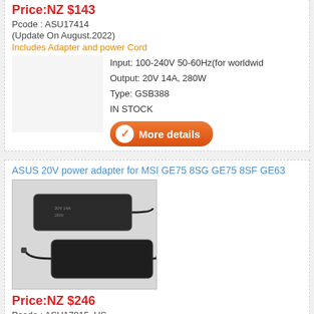Price:NZ $143
Pcode : ASU17414
(Update On August.2022)
Includes Adapter and power Cord
Input: 100-240V 50-60Hz(for worldwid
Output: 20V 14A, 280W
Type: GSB388
IN STOCK
[Figure (illustration): Orange More details button with checkmark icon]
ASUS 20V power adapter for MSI GE75 8SG GE75 8SF GE63
[Figure (photo): Two black ASUS laptop power adapters on white background]
Price:NZ $246
Pcode : ASU17915_US
(Update On August.2022)
Includes Adapter and power Cord